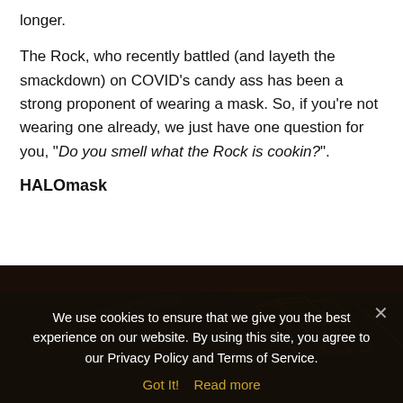longer.

The Rock, who recently battled (and layeth the smackdown) on COVID's candy ass has been a strong proponent of wearing a mask. So, if you're not wearing one already, we just have one question for you, "Do you smell what the Rock is cookin?".
HALOmask
[Figure (photo): Dark photo of a black face mask with gold geometric pattern design, showing the mask's elastic strap and decorative fabric]
We use cookies to ensure that we give you the best experience on our website. By using this site, you agree to our Privacy Policy and Terms of Service.
Got It!  Read more